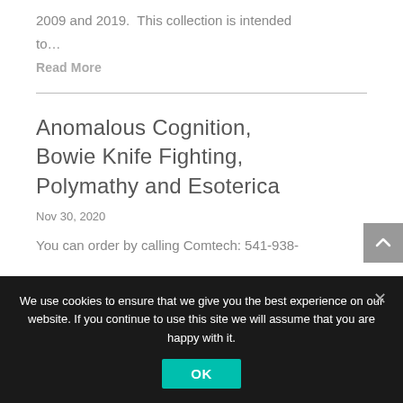2009 and 2019.  This collection is intended to…
Read More
Anomalous Cognition, Bowie Knife Fighting, Polymathy and Esoterica
Nov 30, 2020
You can order by calling Comtech: 541-938-
We use cookies to ensure that we give you the best experience on our website. If you continue to use this site we will assume that you are happy with it.
OK